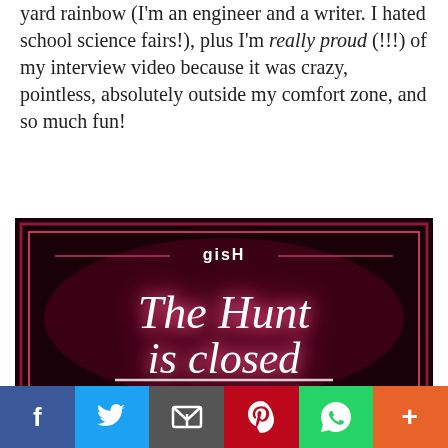yard rainbow (I'm an engineer and a writer. I hated school science fairs!), plus I'm really proud (!!!) of my interview video because it was crazy, pointless, absolutely outside my comfort zone, and so much fun!
[Figure (photo): A neon sign on dark background reading 'The Hunt is closed' in cursive script with a pink/red glow, with 'gisH' branding at the top center inside a rectangular border.]
When it was all over, I felt immense relief, but